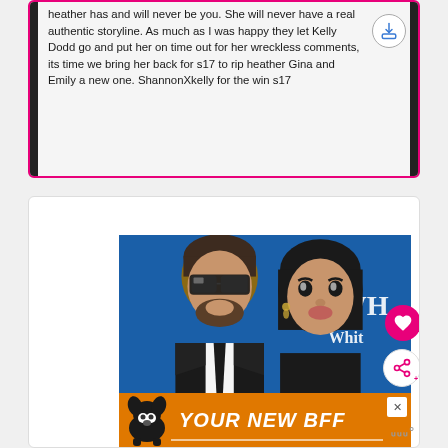heather has and will never be you. She will never have a real authentic storyline. As much as I was happy they let Kelly Dodd go and put her on time out for her wreckless comments, its time we bring her back for s17 to rip heather Gina and Emily a new one. ShannonXkelly for the win s17
[Figure (photo): Two people posing for a photo — a man wearing dark sunglasses and a black suit with tie, and a woman with dark hair in a black outfit. Blue background with partial text 'WH White' visible. Advertisement banner 'YOUR NEW BFF' in orange overlays the bottom of the photo.]